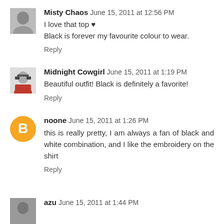[Figure (photo): Avatar photo of Misty Chaos, black and white portrait]
Misty Chaos June 15, 2011 at 12:56 PM
I love that top ♥
Black is forever my favourite colour to wear.
Reply
[Figure (photo): Avatar photo of Midnight Cowgirl, woman with glasses and red top]
Midnight Cowgirl June 15, 2011 at 1:19 PM
Beautiful outfit! Black is definitely a favorite!
Reply
[Figure (logo): Blogger orange circle avatar icon for noone]
noone June 15, 2011 at 1:26 PM
this is really pretty, I am always a fan of black and white combination, and I like the embroidery on the shirt
Reply
[Figure (photo): Avatar photo of azu, partially visible at bottom]
azu June 15, 2011 at 1:44 PM